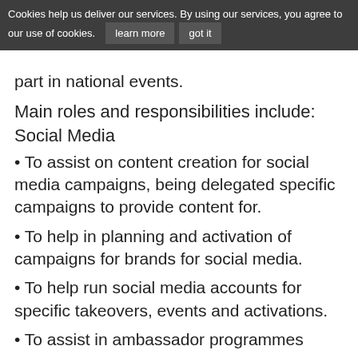Cookies help us deliver our services. By using our services, you agree to our use of cookies. learn more  got it
part in national events.
Main roles and responsibilities include: Social Media
• To assist on content creation for social media campaigns, being delegated specific campaigns to provide content for.
• To help in planning and activation of campaigns for brands for social media.
• To help run social media accounts for specific takeovers, events and activations.
• To assist in ambassador programmes